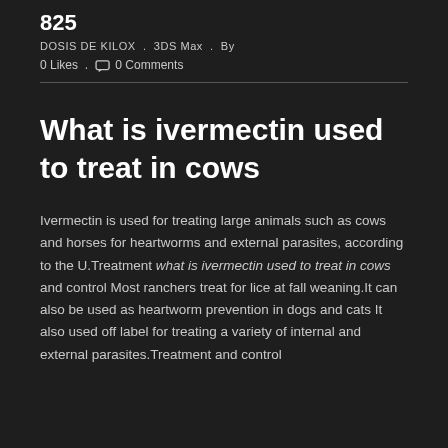825
DOSIS DE KILOX . 3DS Max . By
0 Likes . 0 Comments
What is ivermectin used to treat in cows
Ivermectin is used for treating large animals such as cows and horses for heartworms and external parasites, according to the U.Treatment what is ivermectin used to treat in cows and control Most ranchers treat for lice at fall weaning.It can also be used as heartworm prevention in dogs and cats It also used off label for treating a variety of internal and external parasites.Treatment and control